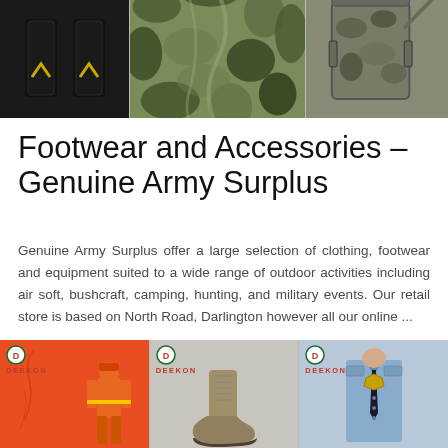[Figure (photo): Three product images at top: black epaulettes with gold chevrons, camouflage fabric, and camouflage bag/pouch]
Footwear and Accessories – Genuine Army Surplus
Genuine Army Surplus offer a large selection of clothing, footwear and equipment suited to a wide range of outdoor activities including air soft, bushcraft, camping, hunting, and military events. Our retail store is based on North Road, Darlington however all our online ...
[Figure (photo): Three product images at bottom with DEEKON branding: orange firefighter suit on red background, tan military boot, blue police/security uniform shirt]